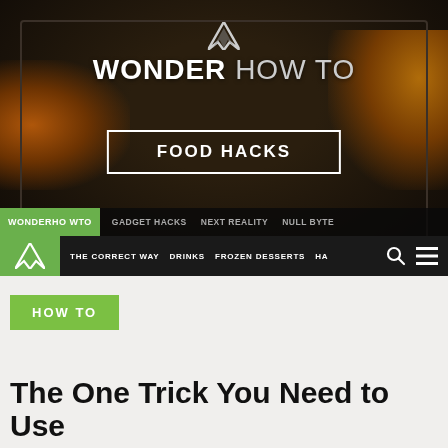[Figure (screenshot): WonderHowTo Food Hacks website header banner showing oven interior background with site logo, FOOD HACKS button, navigation bars with links including GADGET HACKS, NEXT REALITY, NULL BYTE, THE CORRECT WAY, DRINKS, FROZEN DESSERTS, HA with search and menu icons]
HOW TO
The One Trick You Need to Use